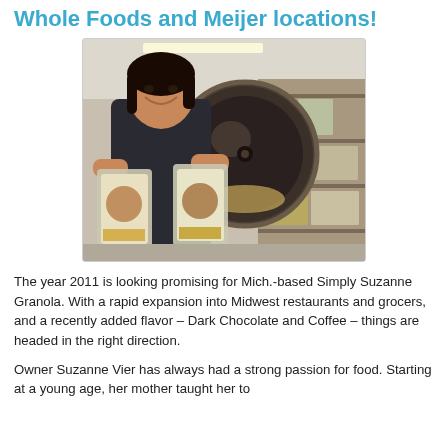Whole Foods and Meijer locations!
[Figure (photo): Woman smiling and holding two packages of Simply Suzanne Granola in front of a large industrial granola tumbler/roaster drum, in a food production facility with shelving and boxes in the background.]
The year 2011 is looking promising for Mich.-based Simply Suzanne Granola. With a rapid expansion into Midwest restaurants and grocers, and a recently added flavor – Dark Chocolate and Coffee – things are headed in the right direction.
Owner Suzanne Vier has always had a strong passion for food. Starting at a young age, her mother taught her to